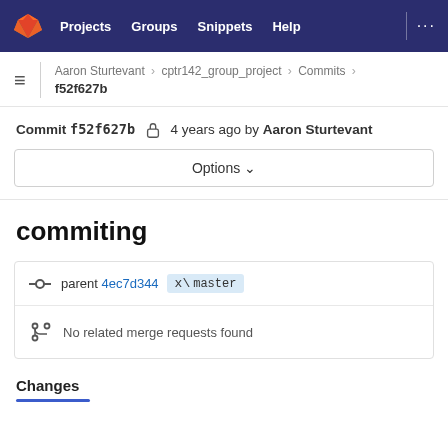Projects  Groups  Snippets  Help  ...
Aaron Sturtevant > cptr142_group_project > Commits > f52f627b
Commit f52f627b  4 years ago by Aaron Sturtevant
Options
commiting
parent 4ec7d344  master
No related merge requests found
Changes